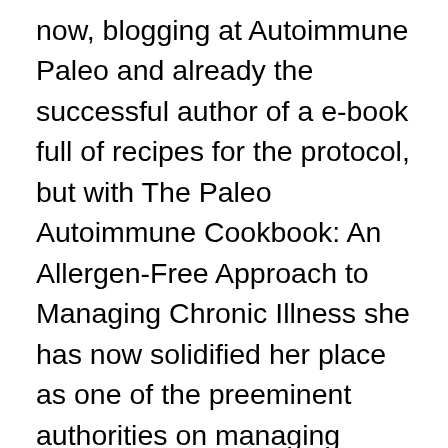now, blogging at Autoimmune Paleo and already the successful author of a e-book full of recipes for the protocol, but with The Paleo Autoimmune Cookbook: An Allergen-Free Approach to Managing Chronic Illness she has now solidified her place as one of the preeminent authorities on managing autoimmunity without ... By eliminating certain food groups and embracing others, Mickey finally rediscovered her health and vitality...The Autoimmune Paleo Cookbook features 115 of Mickey's most delicious recipes as well as lots of clear information for anyone who wants to explore this version of the paleo diet. Guidelines for the diet are clearly outlined and the steps for embarking on a